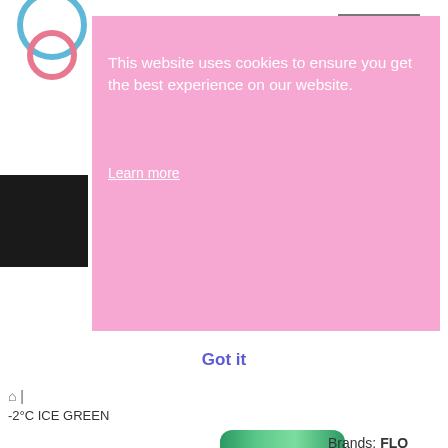[Figure (screenshot): Partial website screenshot showing a cookie consent banner overlay on a product page for FLOWFUSHI LIP38C -2°C ICE GREEN lip treatment product]
This website uses cookies to ensure you get the best experience on our website.
Learn more
Got it
-2°C ICE GREEN
Brands: FLOWFUSHI